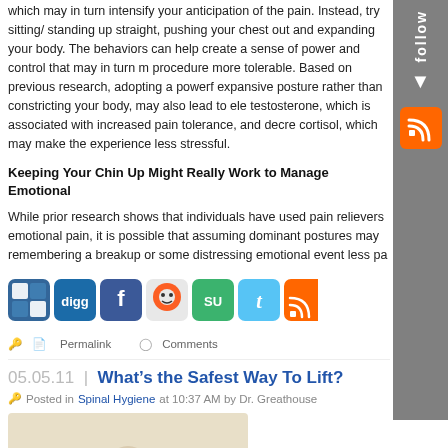which may in turn intensify your anticipation of the pain. Instead, try sitting/standing up straight, pushing your chest out and expanding your body. These behaviors can help create a sense of power and control that may in turn make the procedure more tolerable. Based on previous research, adopting a powerful, expansive posture rather than constricting your body, may also lead to elevated testosterone, which is associated with increased pain tolerance, and decreased cortisol, which may make the experience less stressful.
Keeping Your Chin Up Might Really Work to Manage Emotional
While prior research shows that individuals have used pain relievers to manage emotional pain, it is possible that assuming dominant postures may make remembering a breakup or some distressing emotional event less pa...
[Figure (infographic): Social sharing icons: Delicious, Digg, Facebook, Reddit, StumbleUpon, Twitter, RSS]
Permalink    Comments
05.05.11 | What’s the Safest Way To Lift?
Posted in Spinal Hygiene at 10:37 AM by Dr. Greathouse
[Figure (photo): Thumbnail image showing a figure, background is tan/beige color]